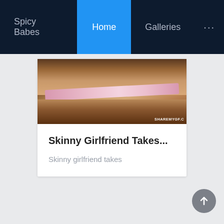Spicy Babes | Home | Galleries | ...
[Figure (photo): Close-up photo showing skin with a pink underwear band, watermarked SHAREMYGF.C]
Skinny Girlfriend Takes...
Skinny girlfriend takes
[Figure (photo): Second content card, partially visible, light gray background]